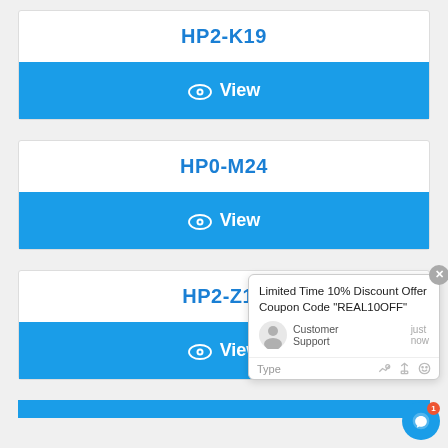HP2-K19
[Figure (screenshot): Blue 'View' button with eye icon]
HP0-M24
[Figure (screenshot): Blue 'View' button with eye icon]
[Figure (screenshot): Chat popup: Limited Time 10% Discount Offer Coupon Code REAL10OFF, Customer Support, just now, Type row with icons]
HP2-Z15
[Figure (screenshot): Blue 'View' button with eye icon]
[Figure (screenshot): Blue chat bubble button with badge count 1]